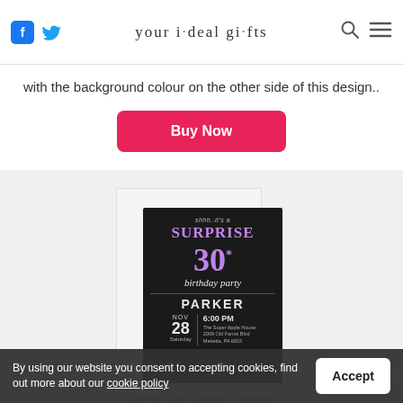your ideal gifts
with the background colour on the other side of this design..
Buy Now
[Figure (photo): Surprise 30th birthday party invitation card on a marble background envelope. Black card with purple text reading: shhh..it's a SURPRISE 30* birthday party, PARKER, NOV 28 Saturday, 6:00 PM, The Super Apple House, 2009 Old Farms Blvd, Marietta, PA 6815]
surprise 30th birthday invitation
By using our website you consent to accepting cookies, find out more about our cookie policy